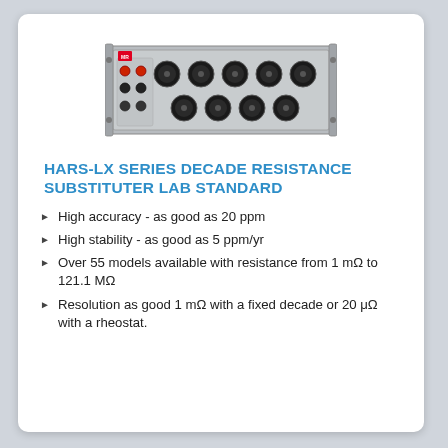[Figure (photo): Photograph of the HARS-LX Series Decade Resistance Substituter Lab Standard instrument — a rack-mounted grey metal unit with multiple large rotary dial knobs arranged in two rows, with red and black binding posts on the left side.]
HARS-LX SERIES DECADE RESISTANCE SUBSTITUTER LAB STANDARD
High accuracy - as good as 20 ppm
High stability - as good as 5 ppm/yr
Over 55 models available with resistance from 1 mΩ to 121.1 MΩ
Resolution as good 1 mΩ with a fixed decade or 20 μΩ with a rheostat.